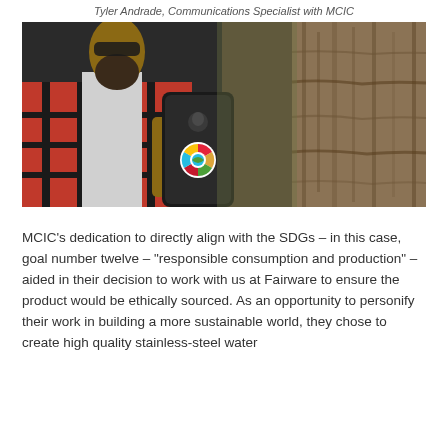Tyler Andrade, Communications Specialist with MCIC
[Figure (photo): A man in a red and black plaid jacket holding a smartphone with an SDG logo PopSocket, standing next to a tree trunk.]
MCIC’s dedication to directly align with the SDGs – in this case, goal number twelve – “responsible consumption and production” – aided in their decision to work with us at Fairware to ensure the product would be ethically sourced. As an opportunity to personify their work in building a more sustainable world, they chose to create high quality stainless-steel water